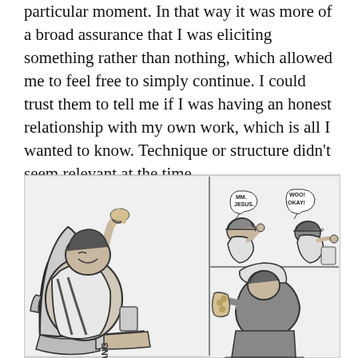particular moment. In that way it was more of a broad assurance that I was eliciting something rather than nothing, which allowed me to feel free to simply continue. I could trust them to tell me if I was having an honest relationship with my own work, which is all I wanted to know. Technique or structure didn't seem relevant at the time.
[Figure (illustration): A comic strip illustration in black and white showing figures in a casual setting. On the left, a large figure reclines in a chair eating from a container. On the upper right, two panels show figures with speech bubbles reading 'MM. JESUS.' and 'WOO! OKAY!' with sound effects 'SLAP'. Lower right panel shows a seated figure with a food container. Text 'LANG' appears at the bottom left.]